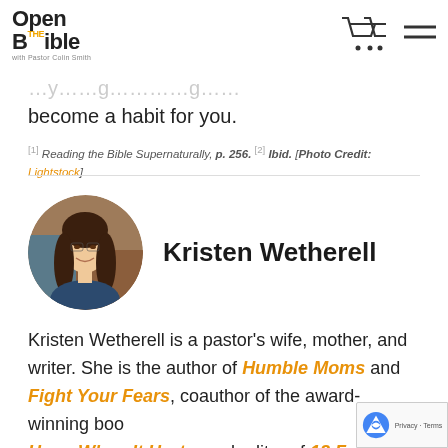Open the Bible with Pastor Colin Smith
…y…g…g…
become a habit for you.
[1] Reading the Bible Supernaturally, p. 256. [2] Ibid. [Photo Credit: Lightstock]
[Figure (photo): Circular portrait photo of Kristen Wetherell, a woman with long brown hair, smiling]
Kristen Wetherell
Kristen Wetherell is a pastor's wife, mother, and writer. She is the author of Humble Moms and Fight Your Fears, coauthor of the award-winning book Hope When It Hurts, and editor of 12 Faithful